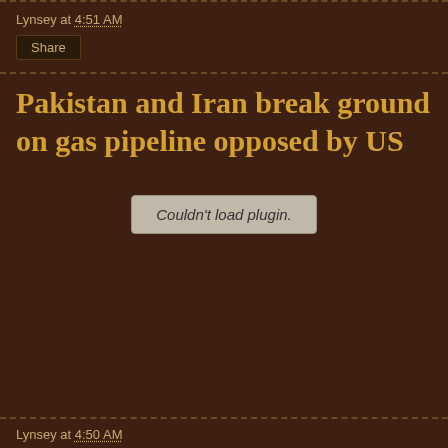Lynsey at 4:51 AM
Share
Pakistan and Iran break ground on gas pipeline opposed by US
[Figure (other): Embedded media plugin placeholder showing 'Couldn't load plugin.']
Lynsey at 4:50 AM